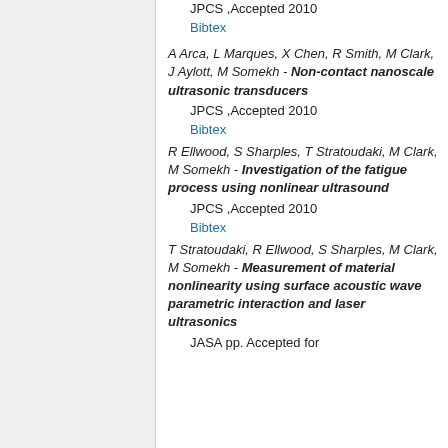JPCS ,Accepted 2010
Bibtex
A Arca, L Marques, X Chen, R Smith, M Clark, J Aylott, M Somekh - Non-contact nanoscale ultrasonic transducers
JPCS ,Accepted 2010
Bibtex
R Ellwood, S Sharples, T Stratoudaki, M Clark, M Somekh - Investigation of the fatigue process using nonlinear ultrasound
JPCS ,Accepted 2010
Bibtex
T Stratoudaki, R Ellwood, S Sharples, M Clark, M Somekh - Measurement of material nonlinearity using surface acoustic wave parametric interaction and laser ultrasonics
JASA pp. Accepted for